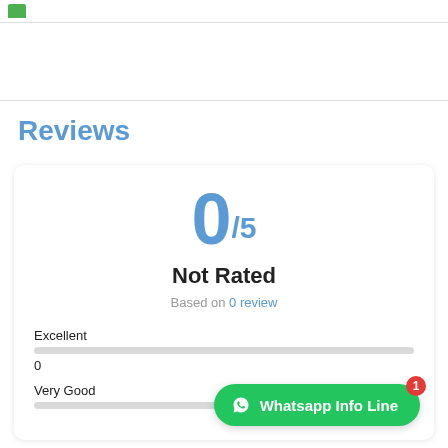Reviews
0/5
Not Rated
Based on 0 review
Excellent
0
Very Good
Whatsapp Info Line